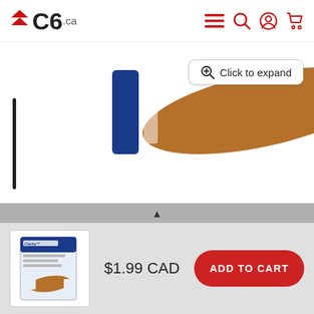C6.ca
[Figure (photo): Product photo showing bandages/medical product with blue and brown packaging, partially cropped. Overlay button reads 'Click to expand'.]
Please purchase based on description and SKU number. Images shown are for reference only and might not represent products accurately.
[Figure (photo): Small thumbnail of product box showing Clarity flexible adhesive bandages.]
$1.99 CAD
ADD TO CART